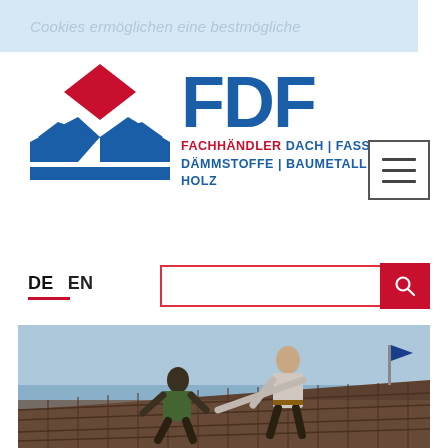Cookies ermöglichen eine bestmögliche
[Figure (logo): FDF logo with red diamond shape and blue arrow/wing shapes, text 'FDF' in blue bold letters, subtitle 'FACHHÄNDLER DACH | FASSADE DÄMMSTOFFE | BAUMETALLE | HOLZ']
[Figure (other): Hamburger menu icon — three horizontal bars inside a square border]
DE  EN
[Figure (other): Search bar with red border and red search button with magnifying glass icon]
[Figure (photo): Two workers on a roof laying roof tiles, blue sky in background]